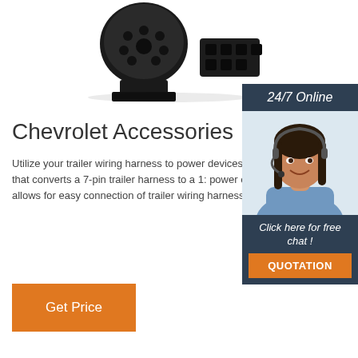[Figure (photo): Black 7-pin to 4-pin trailer wiring connector/adapter product photo on white background]
Chevrolet Accessories
Utilize your trailer wiring harness to power devices through the custom-designed adapter that converts a 7-pin trailer harness to a 12V power outlet. The 7-pin round to 4-pin flat allows for easy connection of trailer wiring harnesses that only require a 4-pin connector.
[Figure (photo): Customer service representative woman with headset smiling, 24/7 Online support widget with dark blue background]
Get Price
24/7 Online
Click here for free chat !
QUOTATION